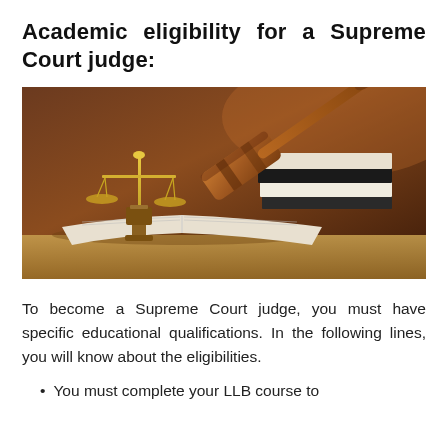Academic eligibility for a Supreme Court judge:
[Figure (photo): A wooden judge's gavel resting on a stack of books, with golden scales of justice on an open book, set against a warm brown background on a wooden surface.]
To become a Supreme Court judge, you must have specific educational qualifications. In the following lines, you will know about the eligibilities.
You must complete your LLB course to